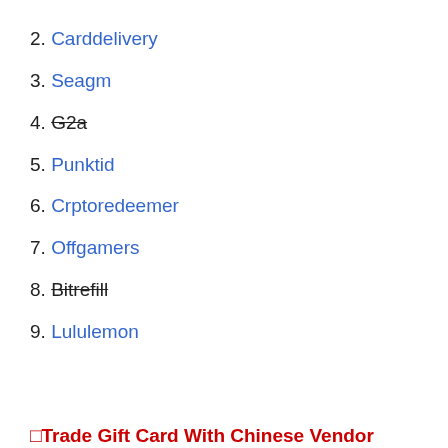2. Carddelivery
3. Seagm
4. G2a (strikethrough)
5. Punktid
6. Crptoredeemer
7. Offgamers
8. Bitrefill (strikethrough)
9. Lululemon
□Trade Gift Card With Chinese Vendor